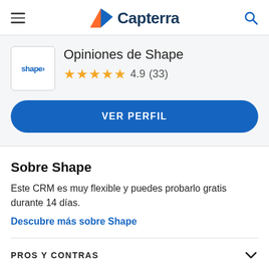Capterra
Opiniones de Shape
4.9 (33)
VER PERFIL
Sobre Shape
Este CRM es muy flexible y puedes probarlo gratis durante 14 días.
Descubre más sobre Shape
PROS Y CONTRAS